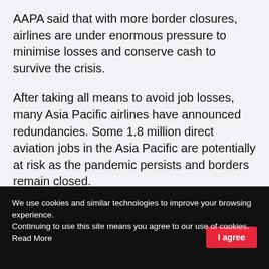AAPA said that with more border closures, airlines are under enormous pressure to minimise losses and conserve cash to survive the crisis.
After taking all means to avoid job losses, many Asia Pacific airlines have announced redundancies. Some 1.8 million direct aviation jobs in the Asia Pacific are potentially at risk as the pandemic persists and borders remain closed.
We use cookies and similar technologies to improve your browsing experience.
Continuing to use this site means you agree to our use of cookies.    Read More